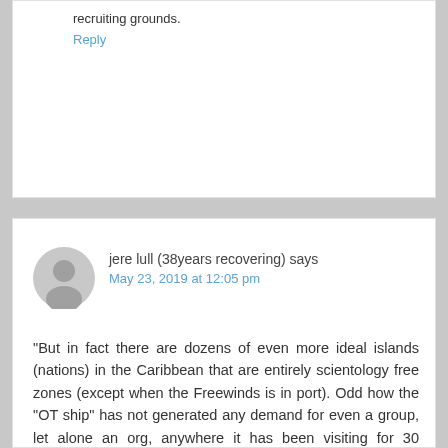recruiting grounds.
Reply
jere lull (38years recovering) says
May 23, 2019 at 12:05 pm
“But in fact there are dozens of even more ideal islands (nations) in the Caribbean that are entirely scientology free zones (except when the Freewinds is in port). Odd how the “OT ship” has not generated any demand for even a group, let alone an org, anywhere it has been visiting for 30 years…”
AND, considering their exemplary control of